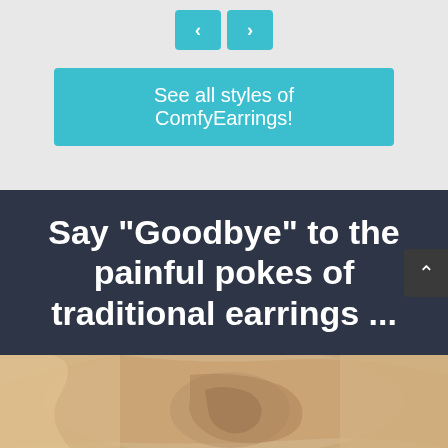[Figure (other): Navigation arrows (left < and right >) on light gray background]
See all styles of ComfyEarrings!
Say "Goodbye" to the painful pokes of traditional earrings ...
[Figure (photo): Close-up photo of a woman's ear with blonde hair, showing the ear without earrings]